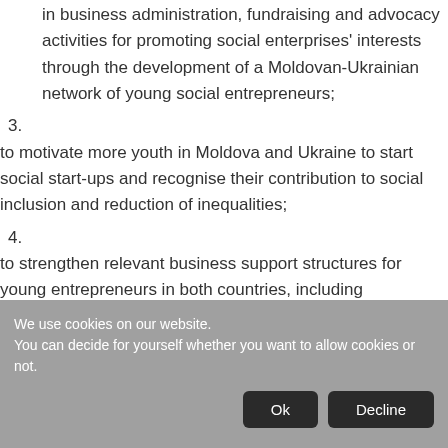in business administration, fundraising and advocacy activities for promoting social enterprises' interests through the development of a Moldovan-Ukrainian network of young social entrepreneurs;
3. to motivate more youth in Moldova and Ukraine to start social start-ups and recognise their contribution to social inclusion and reduction of inequalities;
4. to strengthen relevant business support structures for young entrepreneurs in both countries, including
We use cookies on our website. You can decide for yourself whether you want to allow cookies or not.